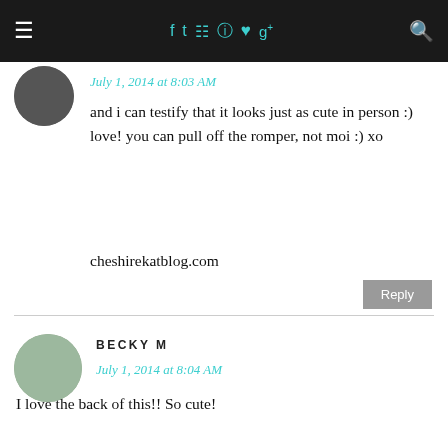≡  f  t  ☷  ⊕  ♥  g+  🔍
July 1, 2014 at 8:03 AM
and i can testify that it looks just as cute in person :) love! you can pull off the romper, not moi :) xo
cheshirekatblog.com
Reply
BECKY M
July 1, 2014 at 8:04 AM
I love the back of this!! So cute!